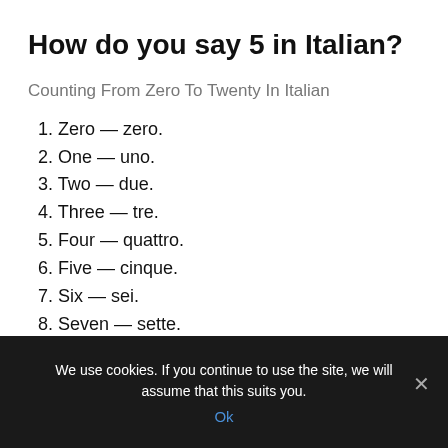How do you say 5 in Italian?
Counting From Zero To Twenty In Italian
1. Zero — zero.
2. One — uno.
3. Two — due.
4. Three — tre.
5. Four — quattro.
6. Five — cinque.
7. Six — sei.
8. Seven — sette.
How do you write 10 in Italian?
We use cookies. If you continue to use the site, we will assume that this suits you.
Ok